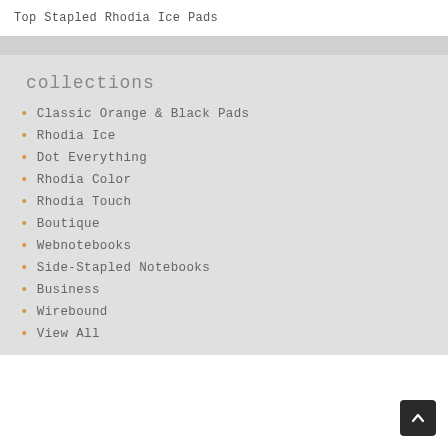Top Stapled Rhodia Ice Pads
collections
Classic Orange & Black Pads
Rhodia Ice
Dot Everything
Rhodia Color
Rhodia Touch
Boutique
Webnotebooks
Side-Stapled Notebooks
Business
Wirebound
View All